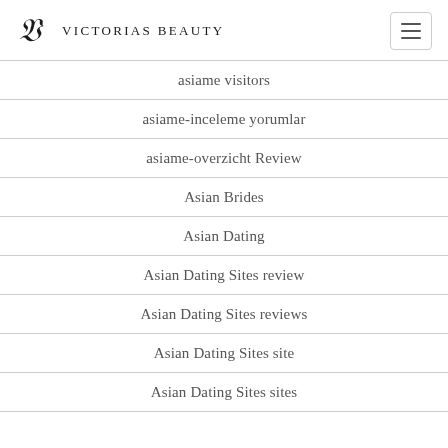Victorias Beauty
asiame visitors
asiame-inceleme yorumlar
asiame-overzicht Review
Asian Brides
Asian Dating
Asian Dating Sites review
Asian Dating Sites reviews
Asian Dating Sites site
Asian Dating Sites sites